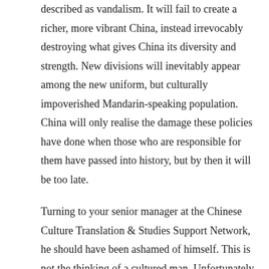described as vandalism. It will fail to create a richer, more vibrant China, instead irrevocably destroying what gives China its diversity and strength. New divisions will inevitably appear among the new uniform, but culturally impoverished Mandarin-speaking population. China will only realise the damage these policies have done when those who are responsible for them have passed into history, but by then it will be too late.
Turning to your senior manager at the Chinese Culture Translation & Studies Support Network, he should have been ashamed of himself. This is not the thinking of a cultured man. Unfortunately he has little choice in view of national policies.